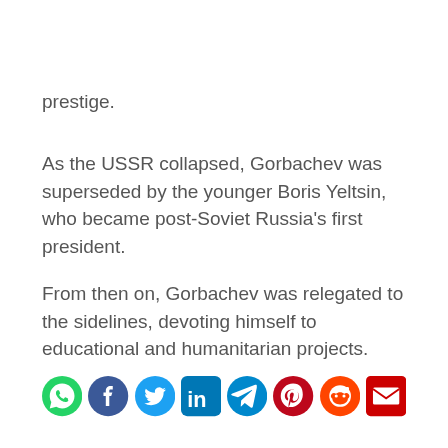prestige.
As the USSR collapsed, Gorbachev was superseded by the younger Boris Yeltsin, who became post-Soviet Russia's first president.
From then on, Gorbachev was relegated to the sidelines, devoting himself to educational and humanitarian projects.
[Figure (infographic): Row of social media sharing icons: WhatsApp (green), Facebook (blue), Twitter (light blue), LinkedIn (dark blue), Telegram (blue), Pinterest (red), Reddit (orange-red), Email (red)]